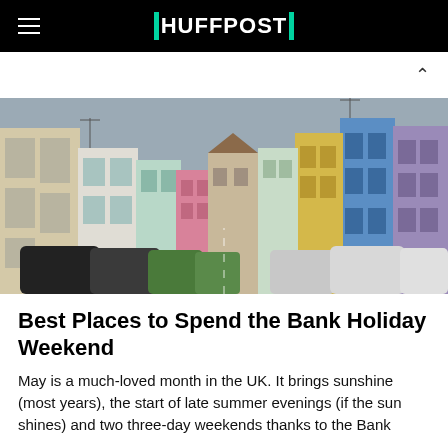HUFFPOST
[Figure (photo): Street view of colorful terraced houses in a UK town, with cars parked along both sides of the road. Houses are painted in pastel colors including pink, mint green, blue, yellow, and lavender.]
Best Places to Spend the Bank Holiday Weekend
May is a much-loved month in the UK. It brings sunshine (most years), the start of late summer evenings (if the sun shines) and two three-day weekends thanks to the Bank